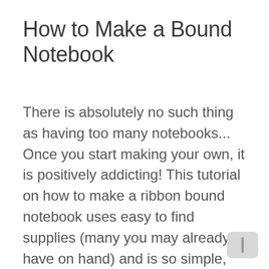How to Make a Bound Notebook
There is absolutely no such thing as having too many notebooks... Once you start making your own, it is positively addicting! This tutorial on how to make a ribbon bound notebook uses easy to find supplies (many you may already have on hand) and is so simple, several notebooks can be created in a matter of hours!